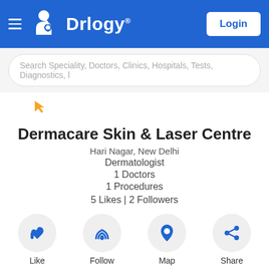Drlogy® — Login
Search Speciality, Doctors, Clinics, Hospitals, Tests, Diagnostics, l
[Figure (illustration): Small yellow arrow/cursor icon]
Dermacare Skin & Laser Centre
Hari Nagar, New Delhi
Dermatologist
1 Doctors
1 Procedures
5 Likes | 2 Followers
[Figure (infographic): Four action buttons: Like (thumbs up), Follow (wifi signal), Map (location pin), Share (share icon) — all blue icons on light grey circular backgrounds]
Info  Doctors  Procedures  Amenities  Questions